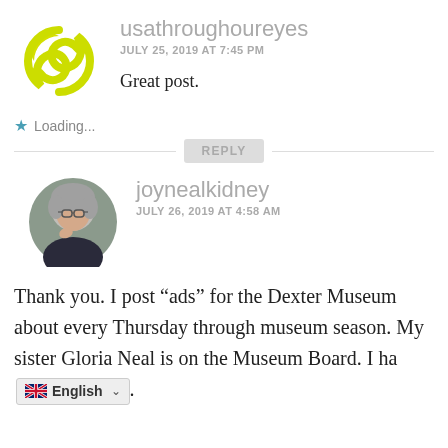[Figure (logo): Yellow circular swirl logo for usathroughoureyes]
usathroughoureyes
JULY 25, 2019 AT 7:45 PM
Great post.
Loading...
REPLY
[Figure (photo): Profile photo of joynealkidney, an older woman with short grey hair and glasses]
joynealkidney
JULY 26, 2019 AT 4:58 AM
Thank you. I post “ads” for the Dexter Museum about every Thursday through museum season. My sister Gloria Neal is on the Museum Board. I ha
English